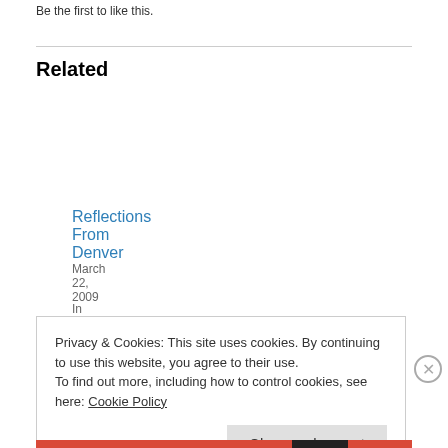Be the first to like this.
Related
Reflections From Denver
March 22, 2009
In "Companies"
Toward Vertical Approach to Agile
October 2, 2009
In "Events"
The June 25 Agile Success Tour Event in Atlanta
June 20, 2009
Privacy & Cookies: This site uses cookies. By continuing to use this website, you agree to their use.
To find out more, including how to control cookies, see here: Cookie Policy
Close and accept